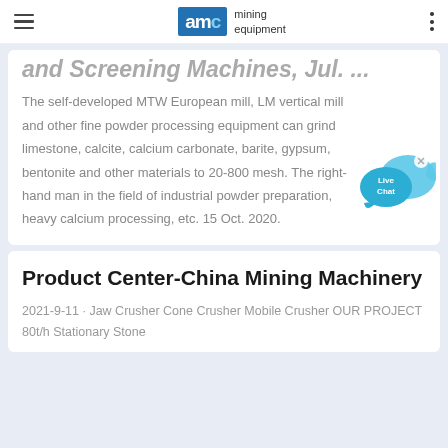AMC mining equipment
and Screening Machines, Jul. ...
The self-developed MTW European mill, LM vertical mill and other fine powder processing equipment can grind limestone, calcite, calcium carbonate, barite, gypsum, bentonite and other materials to 20-800 mesh. The right-hand man in the field of industrial powder preparation, heavy calcium processing, etc. 15 Oct. 2020.
[Figure (illustration): Live Chat bubble icon with X close button]
Product Center-China Mining Machinery
2021-9-11 · Jaw Crusher Cone Crusher Mobile Crusher OUR PROJECT 80t/h Stationary Stone